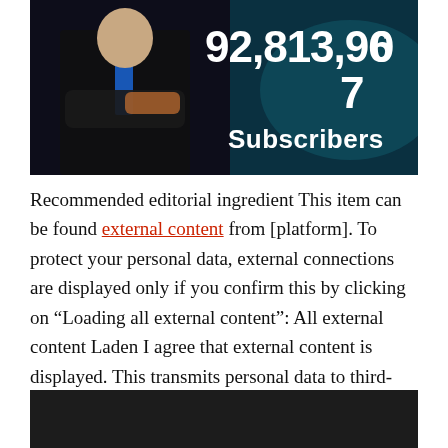[Figure (screenshot): Dark-themed image showing a man in a suit with arms crossed and large white bold text reading '92,813,96' and '7' and 'Subscribers' in white on a dark/teal background]
Recommended editorial ingredient This item can be found external content from [platform]. To protect your personal data, external connections are displayed only if you confirm this by clicking on “Loading all external content”: All external content Laden I agree that external content is displayed. This transmits personal data to third-platforms. Read more about our privacy policy.
[Figure (screenshot): Dark/black rectangle, bottom portion of another embedded media element]